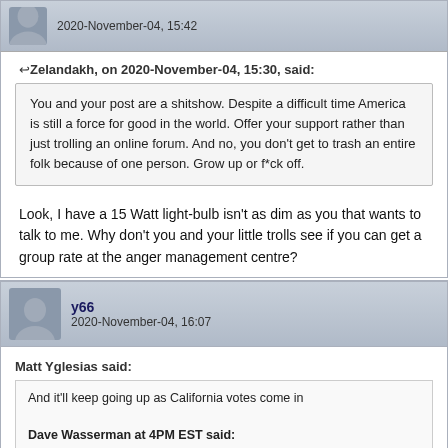2020-November-04, 15:42
Zelandakh, on 2020-November-04, 15:30, said:
You and your post are a shitshow. Despite a difficult time America is still a force for good in the world. Offer your support rather than just trolling an online forum. And no, you don't get to trash an entire folk because of one person. Grow up or f*ck off.
Look, I have a 15 Watt light-bulb isn't as dim as you that wants to talk to me. Why don't you and your little trolls see if you can get a group rate at the anger management centre?
y66
2020-November-04, 16:07
Matt Yglesias said:
And it'll keep going up as California votes come in
Dave Wasserman at 4PM EST said: